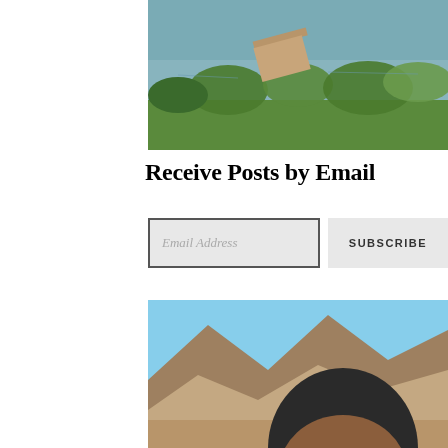[Figure (photo): Outdoor nature scene with water, a wooden dock or board, green grass and shrubs along a riverbank or pond edge]
Receive Posts by Email
[Figure (other): Email subscription form with an 'Email Address' input field and a 'SUBSCRIBE' button]
[Figure (photo): Portrait photo of a person outdoors with mountains and blue sky in the background]